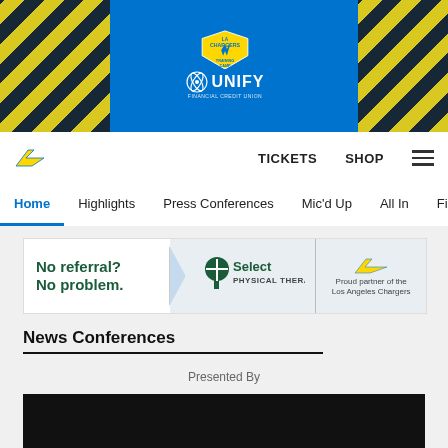[Figure (photo): LA Chargers Training Camp hero banner with two football players, LA Chargers Training Camp shield logo, and UNIFY Financial Credit Union logo on a blue and yellow/black striped background]
TICKETS   SHOP   ☰
Home
Highlights
Press Conferences
Mic'd Up
All In
Film Ro
[Figure (logo): Select Physical Therapy advertisement: No referral? No problem. Select Physical Therapy — Proud partner of the Los Angeles Chargers]
News Conferences
Presented By
[Figure (screenshot): Black video player placeholder]